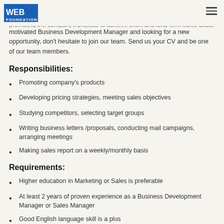Web Foundation logo and hamburger menu
Web Foundation is looking for an experienced Business Development to join its team. The desired candidate will be responsible for strategies for promoting the company's projects to achieve short and long-term sales goals. If you are an enthusiastic and motivated Business Development Manager and looking for a new opportunity, don't hesitate to join our team. Send us your CV and be one of our team members.
Responsibilities:
Promoting company's products
Developing pricing strategies, meeting sales objectives
Studying competitors, selecting target groups
Writing business letters /proposals, conducting mail campaigns, arranging meetings
Making sales report on a weekly/monthly basis
Requirements:
Higher education in Marketing or Sales is preferable
At least 2 years of proven experience as a Business Development Manager or Sales Manager
Good English language skill is a plus
Ability to find an individual approach to each customer
Good time-management skills